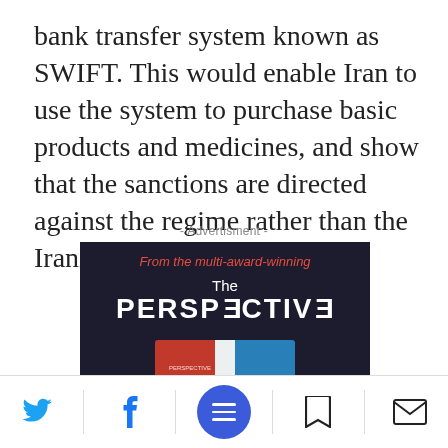bank transfer system known as SWIFT. This would enable Iran to use the system to purchase basic products and medicines, and show that the sanctions are directed against the regime rather than the Iranian people.
- Advertisment -
[Figure (illustration): Advertisement for 'The Perspective' book/publication. Dark background with red text 'From the multi-award-winning', white text 'The PERSPECTIVE', book cover image showing 'WHAT THE HELL...' text, black banner with white bold text 'The 100 debates that govern your life.', white rounded button 'Available on Amazon'.]
Social share and navigation footer with Twitter, Facebook, menu, bookmark, and email icons